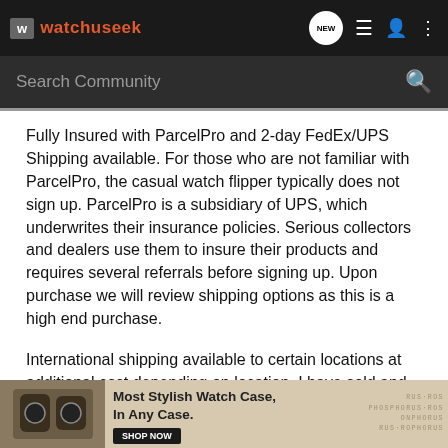watchuseek
Fully Insured with ParcelPro and 2-day FedEx/UPS Shipping available. For those who are not familiar with ParcelPro, the casual watch flipper typically does not sign up. ParcelPro is a subsidiary of UPS, which underwrites their insurance policies. Serious collectors and dealers use them to insure their products and requires several referrals before signing up. Upon purchase we will review shipping options as this is a high end purchase.
International shipping available to certain locations at additional cost depending on location. I have sold and purchased watches all over the globe, and have dealt with the usual paperwork headaches... Face to ...ed.
[Figure (photo): Advertisement for a watch case product with text 'Most Stylish Watch Case, In Any Case.' and a SHOP NOW button, overlaid at the bottom of the page.]